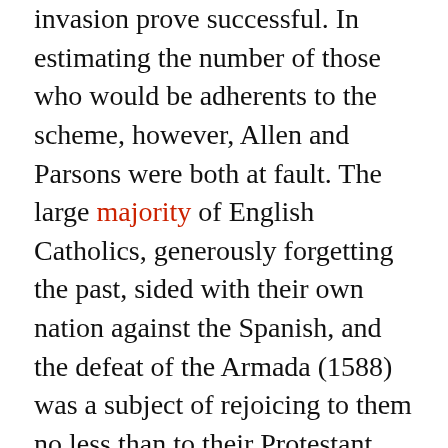invasion prove successful. In estimating the number of those who would be adherents to the scheme, however, Allen and Parsons were both at fault. The large majority of English Catholics, generously forgetting the past, sided with their own nation against the Spanish, and the defeat of the Armada (1588) was a subject of rejoicing to them no less than to their Protestant fellow countrymen. Allen survived the defeat of the Armada six years. To the end of his life he remained fully convinced that the time was not far distant when England would be Catholic again. During his last years there was an estrangement between him and the Jesuits, though his personal relations with Father Parsons remained